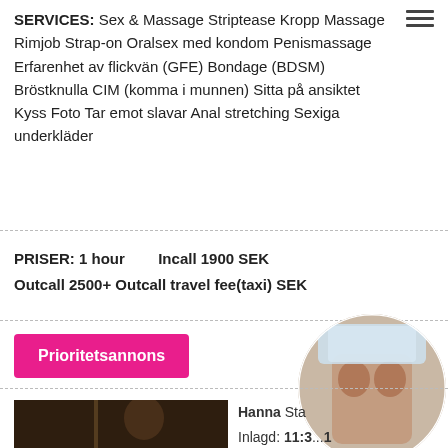SERVICES: Sex & Massage Striptease Kropp Massage Rimjob Strap-on Oralsex med kondom Penismassage Erfarenhet av flickvän (GFE) Bondage (BDSM) Bröstknulla CIM (komma i munnen) Sitta på ansiktet Kyss Foto Tar emot slavar Anal stretching Sexiga underkläder
PRISER: 1 hour    Incall 1900 SEK
Outcall 2500+ Outcall travel fee(taxi) SEK
Prioritetsannons
[Figure (photo): Circular cropped photo showing a person's torso]
[Figure (photo): Photo of a person with dark hair in a dark interior]
Hanna Sta...
Inlagd: 11:3... 1
Profil: 46883124169